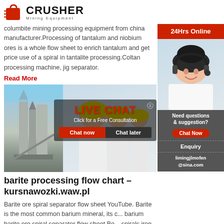[Figure (logo): Crusher Mining Equipment logo with red shopping bag icon and bold CRUSHER text]
columbite mining processing equipment from china manufacturer.Processing of tantalum and niobium ores is a whole flow sheet to enrich tantalum and get price use of a spiral in tantalite processing.Coltan processing machine, jig separator.
Read More
[Figure (photo): Left: industrial mining plant with silos and equipment against blue sky. Right: workers in yellow hard hats and safety gear smiling. Overlay: LIVE CHAT banner with 'Click for a Free Consultation', Chat now and Chat later buttons. Top right: 24Hrs Online banner. Bottom right: female customer service agent with headset.]
barite processing flow chart – kursnawozki.waw.pl
Barite ore spiral separator flow sheet YouTube. Barite is the most common barium mineral, its c... barium barite ore spiral separator flow sheet Be... spirals iron ore processing plant flow sheet Grinding Mill